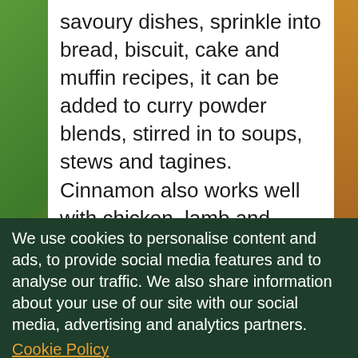savoury dishes, sprinkle into bread, biscuit, cake and muffin recipes, it can be added to curry powder blends, stirred in to soups, stews and tagines. Cinnamon also works well with chicken, lamb and beef. Add to crumble toppings and the fillings of apple and pumpkin pies, sprinkle onto porridge, muesli, pancakes for a sweet spicy flavour. You can also blend it into butter and make spicy cinnamon toast, try the butter on toasted teacakes and crumpets to! Whole pieces of
sachets, pot pourn mixes and to mulled wine and cider blends.
We use cookies to personalise content and ads, to provide social media features and to analyse our traffic. We also share information about your use of our site with our social media, advertising and analytics partners.
Cookie Policy